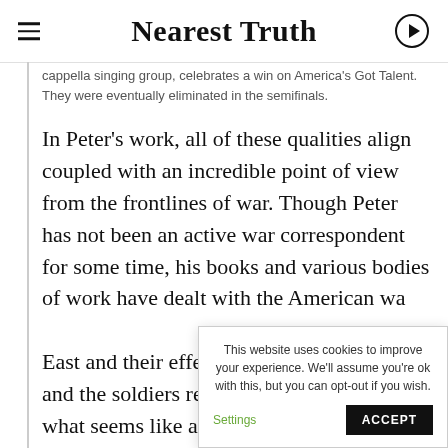Nearest Truth
cappella singing group, celebrates a win on America's Got Talent. They were eventually eliminated in the semifinals.
In Peter's work, all of these qualities align coupled with an incredible point of view from the frontlines of war. Though Peter has not been an active war correspondent for some time, his books and various bodies of work have dealt with the American wa… East and their effect… and the soldiers retu… what seems like a ne… occupation abroad launched directly
This website uses cookies to improve your experience. We'll assume you're ok with this, but you can opt-out if you wish. Settings ACCEPT